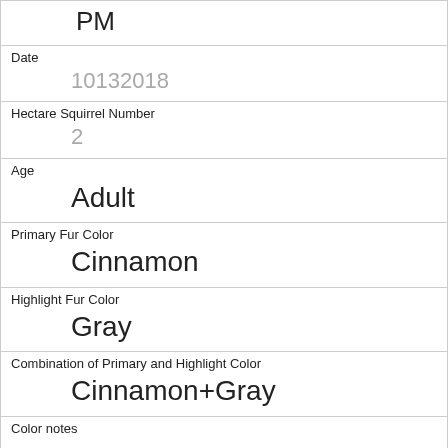PM
Date
10132018
Hectare Squirrel Number
2
Age
Adult
Primary Fur Color
Cinnamon
Highlight Fur Color
Gray
Combination of Primary and Highlight Color
Cinnamon+Gray
Color notes
Location
Ground Plane
Above Ground Sighter Measurement
FALSE
Specific Location